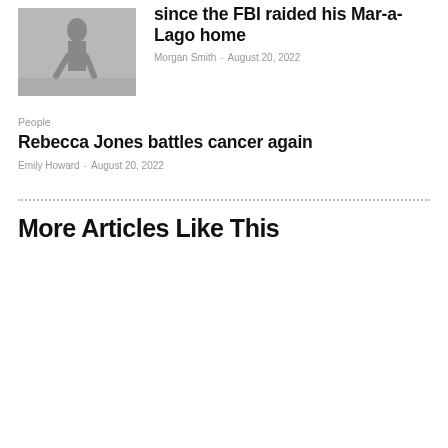[Figure (photo): Black and white photo of a person walking outdoors]
since the FBI raided his Mar-a-Lago home
Morgan Smith  -  August 20, 2022
People
Rebecca Jones battles cancer again
Emily Howard  -  August 20, 2022
More Articles Like This